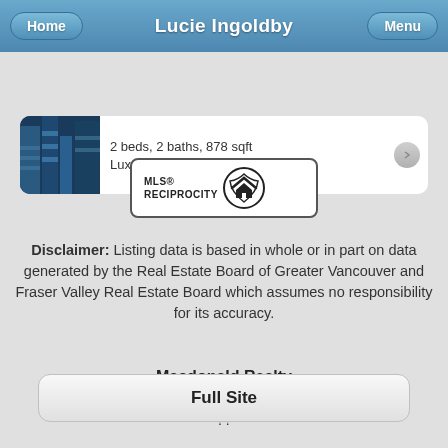Lucie Ingoldby
2 beds, 2 baths, 878 sqft
Luxmore Realty
[Figure (logo): MLS® Reciprocity logo — a circular house icon with text 'MLS® RECIPROCITY']
Disclaimer: Listing data is based in whole or in part on data generated by the Real Estate Board of Greater Vancouver and Fraser Valley Real Estate Board which assumes no responsibility for its accuracy.
Macdonald Realty
1575 Marine Drive, West Vancouver BC
??
Full Site